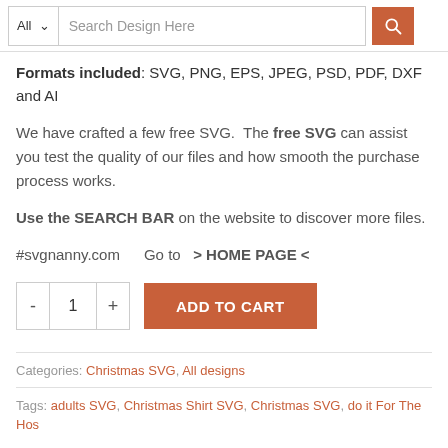[Figure (screenshot): Search bar UI with 'All' dropdown, 'Search Design Here' input, and orange search button]
Formats included: SVG, PNG, EPS, JPEG, PSD, PDF, DXF and AI
We have crafted a few free SVG. The free SVG can assist you test the quality of our files and how smooth the purchase process works.
Use the SEARCH BAR on the website to discover more files.
#svgnanny.com    Go to  > HOME PAGE <
[Figure (screenshot): Add to cart UI with quantity selector (minus, 1, plus) and orange ADD TO CART button]
Categories: Christmas SVG, All designs
Tags: adults SVG, Christmas Shirt SVG, Christmas SVG, do it For The Hos